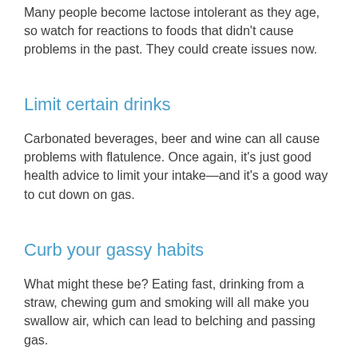Many people become lactose intolerant as they age, so watch for reactions to foods that didn't cause problems in the past. They could create issues now.
Limit certain drinks
Carbonated beverages, beer and wine can all cause problems with flatulence. Once again, it’s just good health advice to limit your intake—and it’s a good way to cut down on gas.
Curb your gassy habits
What might these be? Eating fast, drinking from a straw, chewing gum and smoking will all make you swallow air, which can lead to belching and passing gas.